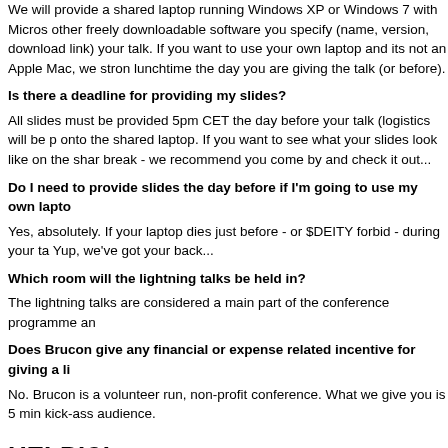We will provide a shared laptop running Windows XP or Windows 7 with Micros other freely downloadable software you specify (name, version, download link) your talk. If you want to use your own laptop and its not an Apple Mac, we stron lunchtime the day you are giving the talk (or before).
Is there a deadline for providing my slides?
All slides must be provided 5pm CET the day before your talk (logistics will be p onto the shared laptop. If you want to see what your slides look like on the shar break - we recommend you come by and check it out...
Do I need to provide slides the day before if I'm going to use my own lapto
Yes, absolutely. If your laptop dies just before - or $DEITY forbid - during your ta Yup, we've got your back...
Which room will the lightning talks be held in?
The lightning talks are considered a main part of the conference programme an
Does Brucon give any financial or expense related incentive for giving a li
No. Brucon is a volunteer run, non-profit conference. What we give you is 5 min kick-ass audience.
HELP!?!
Got a question? Unsure about something? If you've read this far and have a
Lightning talks day 1